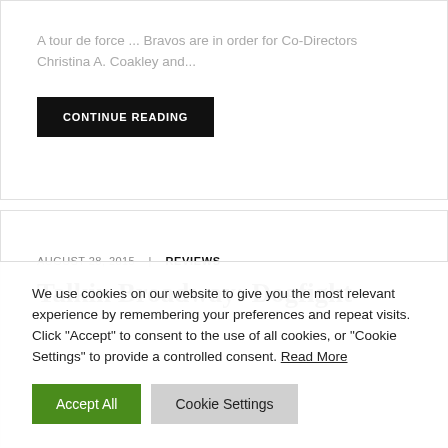A tour de force ... Bravos are in order for Co-Directors Christina A. Coakley and...
CONTINUE READING
AUGUST 28, 2015  |  REVIEWS
Talkin Broadway: Dogfight
We use cookies on our website to give you the most relevant experience by remembering your preferences and repeat visits. Click "Accept" to consent to the use of all cookies, or "Cookie Settings" to provide a controlled consent. Read More
Accept All
Cookie Settings